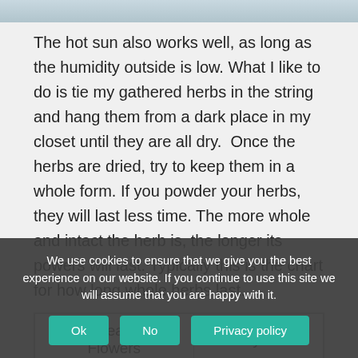[Figure (photo): Partial photo strip at top of page, showing a light blue-grey sky or water scene]
The hot sun also works well, as long as the humidity outside is low. What I like to do is tie my gathered herbs in the string and hang them from a dark place in my closet until they are all dry.  Once the herbs are dried, try to keep them in a whole form. If you powder your herbs, they will last less time. The more whole and intact the herb is, the longer its powers will last. Typically this is the chart for how long whole herbs last.
|  |  |
| --- | --- |
| Whole Leaves and Flowers | 1-2 years |
| Whole Seeds and Bark | 2-3 years |
We use cookies to ensure that we give you the best experience on our website. If you continue to use this site we will assume that you are happy with it.